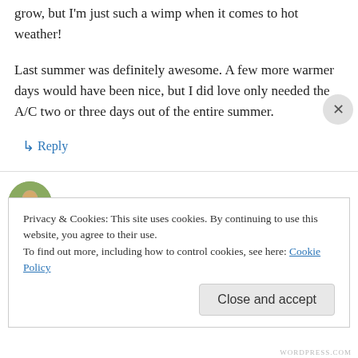grow, but I'm just such a wimp when it comes to hot weather!
Last summer was definitely awesome. A few more warmer days would have been nice, but I did love only needed the A/C two or three days out of the entire summer.
↳ Reply
Paula on May 24, 2010 at 2:10 pm
Privacy & Cookies: This site uses cookies. By continuing to use this website, you agree to their use.
To find out more, including how to control cookies, see here: Cookie Policy
Close and accept
WORDPRESS.COM